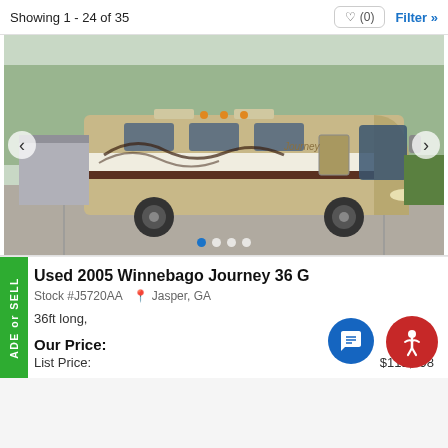Showing 1 - 24 of 35
[Figure (photo): Photo of a used 2005 Winnebago Journey 36 G motorhome, tan/gold colored, parked in a parking lot with trees in background. Carousel with left/right navigation arrows and 4 dots at bottom.]
Used 2005 Winnebago Journey 36 G
Stock #J5720AA  Jasper, GA
36ft long,
Our Price:
List Price:  $111,998